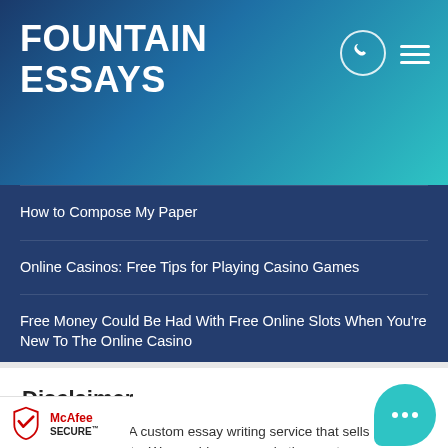FOUNTAIN ESSAYS
How to Compose My Paper
Online Casinos: Free Tips for Playing Casino Games
Free Money Could Be Had With Free Online Slots When You're New To The Online Casino
Online Free Slots How to Increase the Chances of winning Slot Machines Online
Obtain A Better Grade By Writing Your Own Essay For Me
Disclaimer
Fountain Essays: A custom essay writing service that sells nt help services to students. We provide essay wri ther custom assignment help services, and research